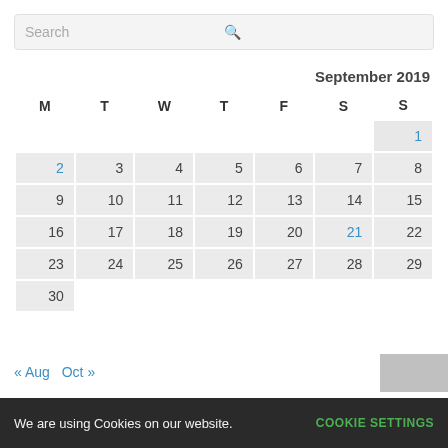Search
September 2019
| M | T | W | T | F | S | S |
| --- | --- | --- | --- | --- | --- | --- |
|  |  |  |  |  |  | 1 |
| 2 | 3 | 4 | 5 | 6 | 7 | 8 |
| 9 | 10 | 11 | 12 | 13 | 14 | 15 |
| 16 | 17 | 18 | 19 | 20 | 21 | 22 |
| 23 | 24 | 25 | 26 | 27 | 28 | 29 |
| 30 |  |  |  |  |  |  |
« Aug  Oct »
We are using Cookies on our website.
COOKIE SETTINGS